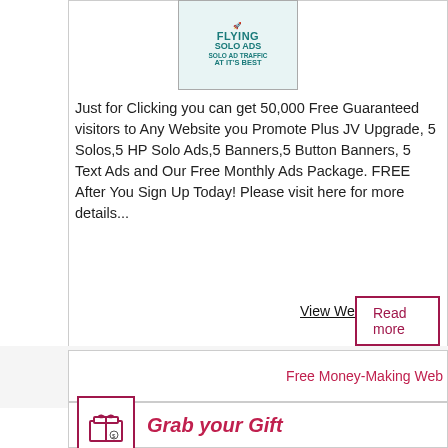[Figure (illustration): Flying Solo Ads advertisement image with teal text: FLYING SOLO ADS / SOLO AD TRAFFIC / AT IT'S BEST]
Just for Clicking you can get 50,000 Free Guaranteed visitors to Any Website you Promote Plus JV Upgrade, 5 Solos,5 HP Solo Ads,5 Banners,5 Button Banners, 5 Text Ads and Our Free Monthly Ads Package. FREE After You Sign Up Today! Please visit here for more details...
View Website
Read more
Free Money-Making Web
Grab your Gift